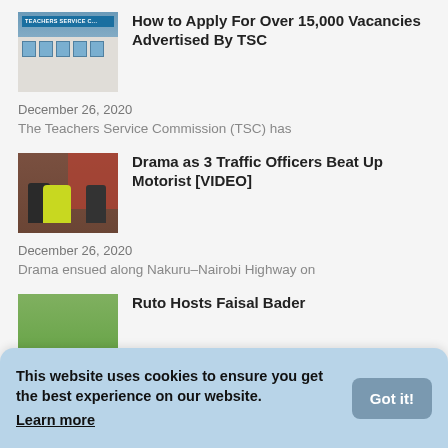[Figure (photo): Thumbnail image of Teachers Service Commission building]
How to Apply For Over 15,000 Vacancies Advertised By TSC
December 26, 2020
The Teachers Service Commission (TSC) has
[Figure (photo): Thumbnail image of three traffic officers]
Drama as 3 Traffic Officers Beat Up Motorist [VIDEO]
December 26, 2020
Drama ensued along Nakuru–Nairobi Highway on
[Figure (photo): Thumbnail image of Ruto with others outdoors]
Ruto Hosts Faisal Bader
This website uses cookies to ensure you get the best experience on our website. Learn more